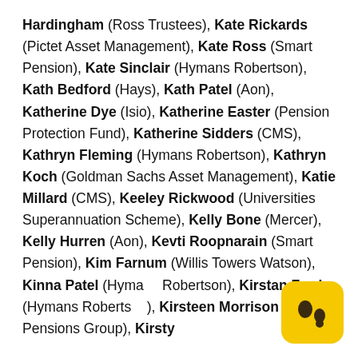Hardingham (Ross Trustees), Kate Rickards (Pictet Asset Management), Kate Ross (Smart Pension), Kate Sinclair (Hymans Robertson), Kath Bedford (Hays), Kath Patel (Aon), Katherine Dye (Isio), Katherine Easter (Pension Protection Fund), Katherine Sidders (CMS), Kathryn Fleming (Hymans Robertson), Kathryn Koch (Goldman Sachs Asset Management), Katie Millard (CMS), Keeley Rickwood (Universities Superannuation Scheme), Kelly Bone (Mercer), Kelly Hurren (Aon), Kevti Roopnarain (Smart Pension), Kim Farnum (Willis Towers Watson), Kinna Patel (Hymans Robertson), Kirstan Ferris (Hymans Robertson), Kirsteen Morrison (XPS Pensions Group), Kirsty
[Figure (logo): Yellow rounded square logo with two dark brown/black circular shapes resembling quotation marks or speech bubbles]